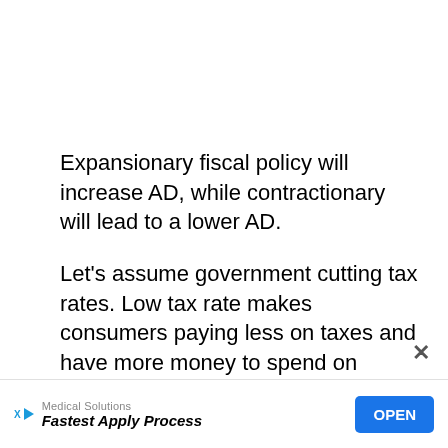Expansionary fiscal policy will increase AD, while contractionary will lead to a lower AD.
Let's assume government cutting tax rates. Low tax rate makes consumers paying less on taxes and have more money to spend on goods and services. As a result, higher consumer spending contributes to shifting the curve to the right.
Medical Solutions Fastest Apply Process OPEN